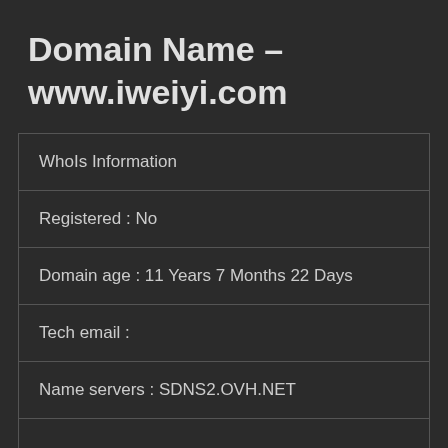Domain Name – www.iweiyi.com
| WhoIs Information |
| Registered : No |
| Domain age : 11 Years 7 Months 22 Days |
| Tech email : |
| Name servers : SDNS2.OVH.NET |
|  |